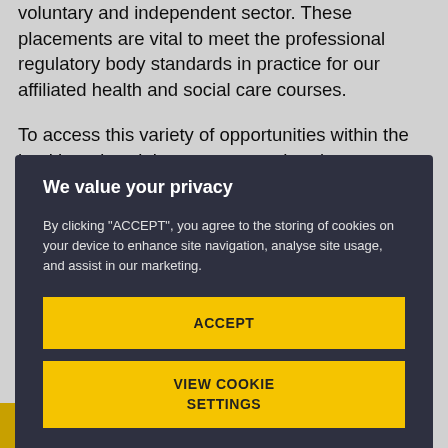voluntary and independent sector. These placements are vital to meet the professional regulatory body standards in practice for our affiliated health and social care courses.
To access this variety of opportunities within the health and social care courses, there's  an expectation that all
[Figure (screenshot): Cookie consent modal overlay with dark background (#2e3040), title 'We value your privacy', descriptive text about cookies, and two yellow buttons: 'ACCEPT' and 'VIEW COOKIE SETTINGS']